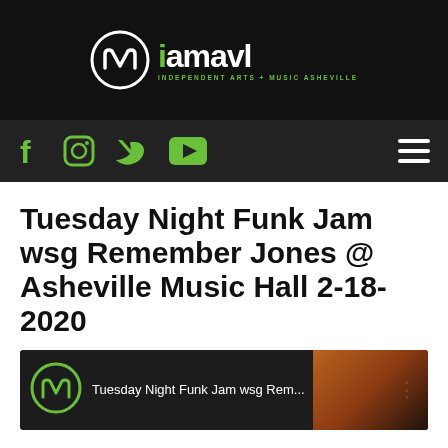[Figure (logo): iamavl logo - Independent Arts + Music Asheville, white circle with stylized 'm' icon on black background]
[Figure (infographic): Social media navigation bar with Facebook, Instagram, Twitter, YouTube icons and hamburger menu on dark background]
Tuesday Night Funk Jam wsg Remember Jones @ Asheville Music Hall 2-18-2020
[Figure (screenshot): YouTube video thumbnail showing Tuesday Night Funk Jam wsg Rem... with iamavl logo and group photo of performers]